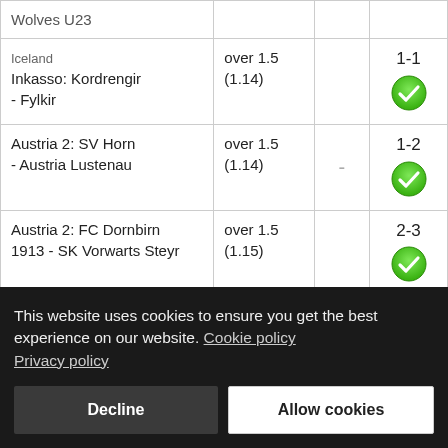| Match | Bet |  | Result |
| --- | --- | --- | --- |
| Wolves U23 |  |  |  |
| Iceland
Inkasso: Kordrengir - Fylkir | over 1.5 (1.14) |  | 1-1 ✓ |
| Austria 2: SV Horn - Austria Lustenau | over 1.5 (1.14) | - | 1-2 ✓ |
| Austria 2: FC Dornbirn 1913 - SK Vorwarts Steyr | over 1.5 (1.15) |  | 2-3 ✓ |
| Ireland First: Athlone | over 1.5 |  |  |
This website uses cookies to ensure you get the best experience on our website. Cookie policy Privacy policy